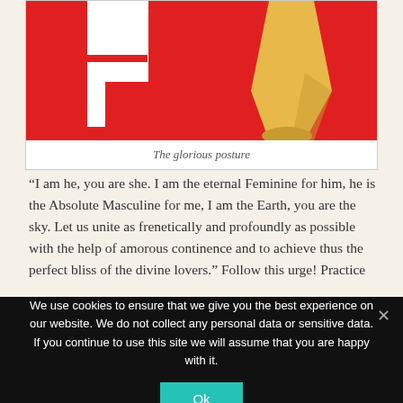[Figure (illustration): Stylized illustration on a red background showing a figure's lower body (yellow/golden skin tone) in a posed posture, with a white architectural element on the left.]
The glorious posture
“I am he, you are she. I am the eternal Feminine for him, he is the Absolute Masculine for me, I am the Earth, you are the sky. Let us unite as frenetically and profoundly as possible with the help of amorous continence and to achieve thus the perfect bliss of the divine lovers.” Follow this urge! Practice
We use cookies to ensure that we give you the best experience on our website. We do not collect any personal data or sensitive data. If you continue to use this site we will assume that you are happy with it.